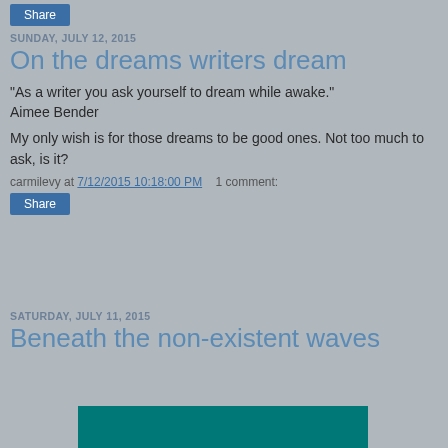[Figure (other): Share button at top of page]
SUNDAY, JULY 12, 2015
On the dreams writers dream
"As a writer you ask yourself to dream while awake." Aimee Bender
My only wish is for those dreams to be good ones. Not too much to ask, is it?
carmilevy at 7/12/2015 10:18:00 PM    1 comment:
[Figure (other): Share button below post]
SATURDAY, JULY 11, 2015
Beneath the non-existent waves
[Figure (photo): Teal/dark cyan image partially visible at bottom of page]